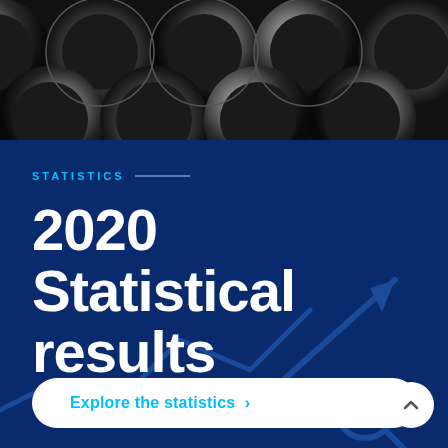[Figure (photo): Close-up photo of stacked steel pipes/tubes viewed from the end, showing circular cross-sections in black and white, fills the top portion of the page]
STATISTICS
2020 Statistical results
[Figure (infographic): Background decorative line chart with upward trending arrow and magnifying glass icon in dark blue tones, overlaid on the dark blue background]
Explore the statistics >